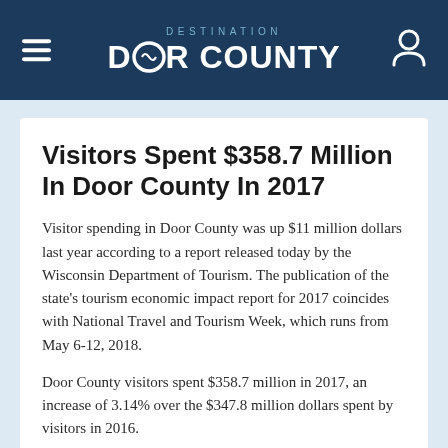DESTINATION DOOR COUNTY
Visitors Spent $358.7 Million In Door County In 2017
Visitor spending in Door County was up $11 million dollars last year according to a report released today by the Wisconsin Department of Tourism. The publication of the state's tourism economic impact report for 2017 coincides with National Travel and Tourism Week, which runs from May 6-12, 2018.
Door County visitors spent $358.7 million in 2017, an increase of 3.14% over the $347.8 million dollars spent by visitors in 2016.